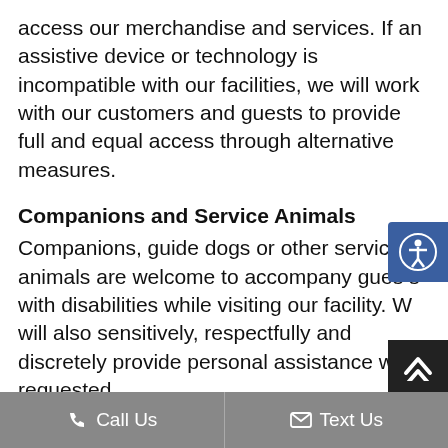access our merchandise and services. If an assistive device or technology is incompatible with our facilities, we will work with our customers and guests to provide full and equal access through alternative measures.
Companions and Service Animals
Companions, guide dogs or other service animals are welcome to accompany guests with disabilities while visiting our facility. We will also sensitively, respectfully and discretely provide personal assistance when requested.